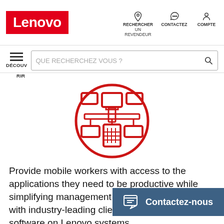[Figure (logo): Lenovo red logo in header]
RECHERCHER UN REVENDEUR   CONTACTEZ   COMPTE
DÉCOUVRIR
[Figure (illustration): Red circular icon with network/devices illustration showing connected devices]
Provide mobile workers with access to the applications they need to be productive while simplifying management and enhancing security with industry-leading client management software on Lenovo systems.
Contactez-nous